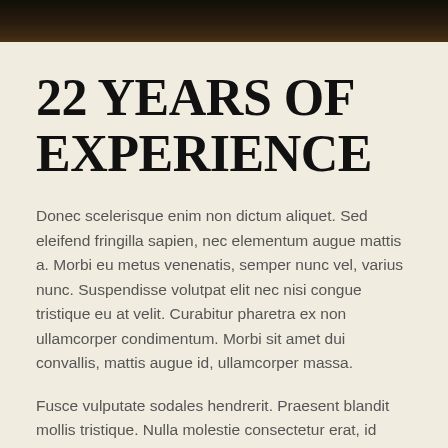[Figure (photo): Dark photographic banner image at top of page]
22 YEARS OF EXPERIENCE
Donec scelerisque enim non dictum aliquet. Sed eleifend fringilla sapien, nec elementum augue mattis a. Morbi eu metus venenatis, semper nunc vel, varius nunc. Suspendisse volutpat elit nec nisi congue tristique eu at velit. Curabitur pharetra ex non ullamcorper condimentum. Morbi sit amet dui convallis, mattis augue id, ullamcorper massa.
Fusce vulputate sodales hendrerit. Praesent blandit mollis tristique. Nulla molestie consectetur erat, id convallis libero porta et. Pellentesque ut diam vel lorem auctor vestibulum. In viverra quam ut nisl egestas tempus.